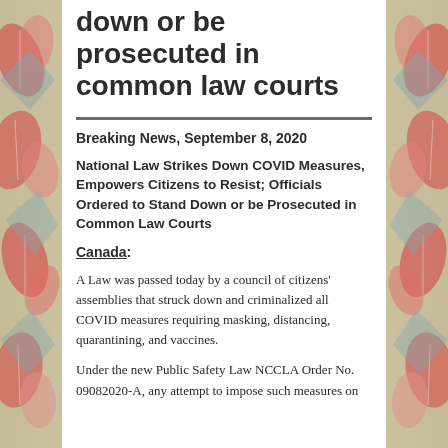down or be prosecuted in common law courts
Breaking News, September 8, 2020
National Law Strikes Down COVID Measures, Empowers Citizens to Resist; Officials Ordered to Stand Down or be Prosecuted in Common Law Courts
Canada:
A Law was passed today by a council of citizens' assemblies that struck down and criminalized all COVID measures requiring masking, distancing, quarantining, and vaccines.
Under the new Public Safety Law NCCLA Order No. 09082020-A, any attempt to impose such measures on